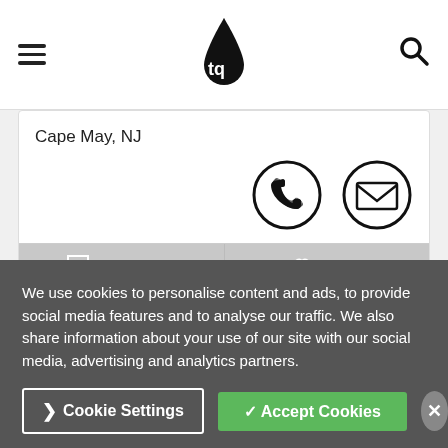TQ logo header with hamburger menu and search icon
Cape May, NJ
[Figure (infographic): Phone icon circle and email envelope icon circle]
COMPARE  SAVE
BLB HYDRAULIC BF
We use cookies to personalise content and ads, to provide social media features and to analyse our traffic. We also share information about your use of our site with our social media, advertising and analytics partners.
Cookie Settings  Accept Cookies